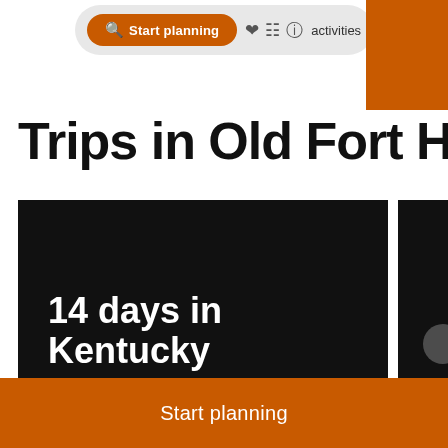Start planning  activities
Trips in Old Fort Harrod Sta...
[Figure (screenshot): Card showing '14 days in Kentucky' trip by a user from United Kingdom on a dark background]
[Figure (screenshot): Partially visible second trip card on dark background with 'BY A' text at bottom]
Start planning